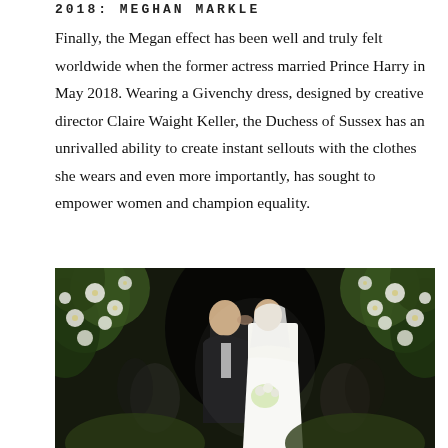2018: MEGHAN MARKLE
Finally, the Megan effect has been well and truly felt worldwide when the former actress married Prince Harry in May 2018. Wearing a Givenchy dress, designed by creative director Claire Waight Keller, the Duchess of Sussex has an unrivalled ability to create instant sellouts with the clothes she wears and even more importantly, has sought to empower women and champion equality.
[Figure (photo): Prince Harry and Meghan Markle kissing at their royal wedding, surrounded by white floral arrangements and greenery, with wedding guests visible in the background.]